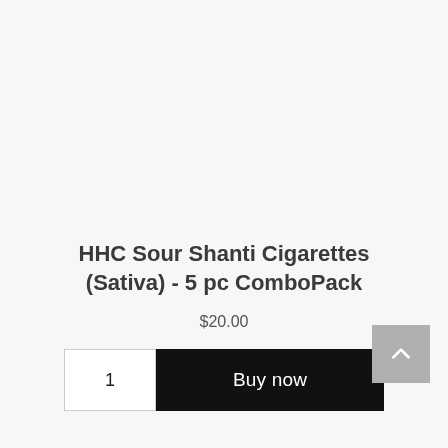HHC Sour Shanti Cigarettes (Sativa) - 5 pc ComboPack
$20.00
[Figure (other): Product purchase UI with quantity input showing '1' and a black 'Buy now' button, plus a grey back-to-top arrow button in the bottom right]